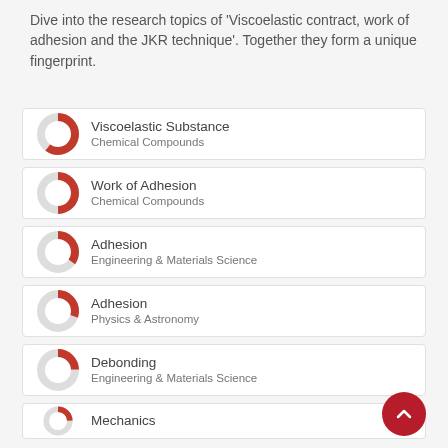Dive into the research topics of 'Viscoelastic contract, work of adhesion and the JKR technique'. Together they form a unique fingerprint.
[Figure (donut-chart): Donut chart for Viscoelastic Substance, Chemical Compounds, approximately 85% filled red]
Viscoelastic Substance
Chemical Compounds
[Figure (donut-chart): Donut chart for Work of Adhesion, Chemical Compounds, approximately 75% filled red]
Work of Adhesion
Chemical Compounds
[Figure (donut-chart): Donut chart for Adhesion, Engineering & Materials Science, approximately 60% filled red]
Adhesion
Engineering & Materials Science
[Figure (donut-chart): Donut chart for Adhesion, Physics & Astronomy, approximately 55% filled red]
Adhesion
Physics & Astronomy
[Figure (donut-chart): Donut chart for Debonding, Engineering & Materials Science, approximately 50% filled red]
Debonding
Engineering & Materials Science
[Figure (donut-chart): Partial donut chart for partially visible card at bottom]